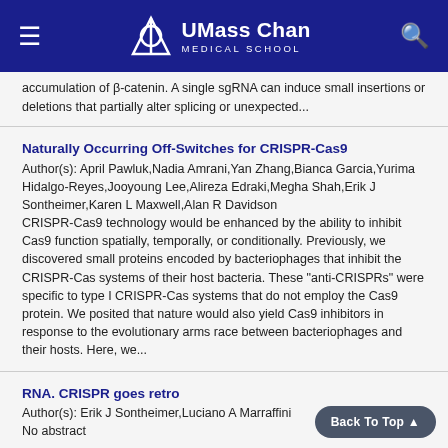UMass Chan Medical School
accumulation of β-catenin. A single sgRNA can induce small insertions or deletions that partially alter splicing or unexpected...
Naturally Occurring Off-Switches for CRISPR-Cas9
Author(s): April Pawluk,Nadia Amrani,Yan Zhang,Bianca Garcia,Yurima Hidalgo-Reyes,Jooyoung Lee,Alireza Edraki,Megha Shah,Erik J Sontheimer,Karen L Maxwell,Alan R Davidson
CRISPR-Cas9 technology would be enhanced by the ability to inhibit Cas9 function spatially, temporally, or conditionally. Previously, we discovered small proteins encoded by bacteriophages that inhibit the CRISPR-Cas systems of their host bacteria. These "anti-CRISPRs" were specific to type I CRISPR-Cas systems that do not employ the Cas9 protein. We posited that nature would also yield Cas9 inhibitors in response to the evolutionary arms race between bacteriophages and their hosts. Here, we...
RNA. CRISPR goes retro
Author(s): Erik J Sontheimer,Luciano A Marraffini
No abstract